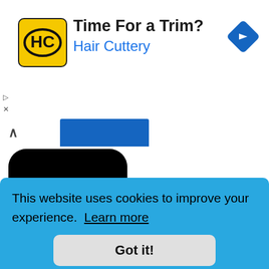[Figure (screenshot): Hair Cuttery advertisement banner with yellow logo showing 'HC', title 'Time For a Trim?', subtitle 'Hair Cuttery' in blue, and a blue navigation icon on the right]
[Figure (screenshot): Xingtu APK app icon: black rounded square with a glowing green circle/sphere in the center]
Xingtu APK (进图) 6.21.21
Beijing Yanxuan Technology
College Bound Mod APK 2022 (18+)
This website uses cookies to improve your experience.  Learn more
Got it!
Pink Tea Games